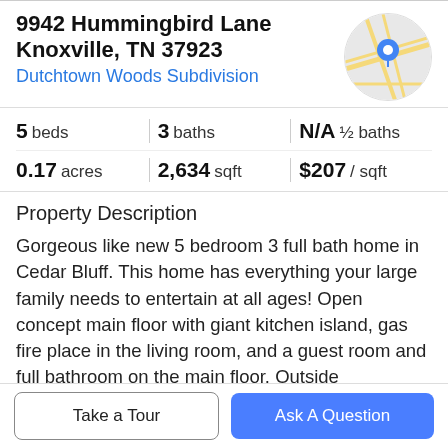9942 Hummingbird Lane
Knoxville, TN 37923
Dutchtown Woods Subdivision
[Figure (map): Circular map thumbnail showing street map with blue location pin marker]
5 beds | 3 baths | N/A ½ baths | 0.17 acres | 2,634 sqft | $207 / sqft
Property Description
Gorgeous like new 5 bedroom 3 full bath home in Cedar Bluff. This home has everything your large family needs to entertain at all ages! Open concept main floor with giant kitchen island, gas fire place in the living room, and a guest room and full bathroom on the main floor. Outside
Take a Tour
Ask A Question